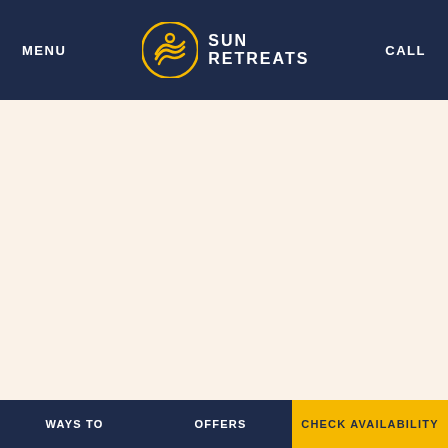MENU | SUN RETREATS | CALL
[Figure (logo): Sun Retreats logo: circular golden wave emblem with SUN RETREATS text in white on dark navy background]
WAYS TO | OFFERS | CHECK AVAILABILITY